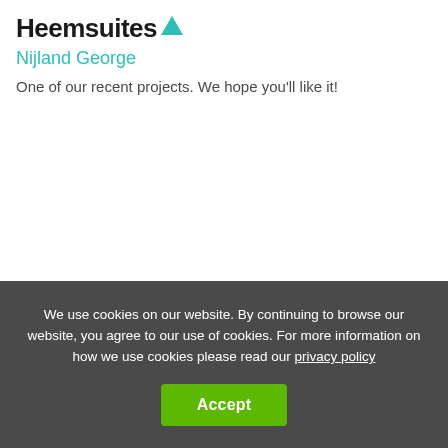Heemsuites ▲
Nijland George
One of our recent projects. We hope you'll like it!
We use cookies on our website. By continuing to browse our website, you agree to our use of cookies. For more information on how we use cookies please read our privacy policy
Accept